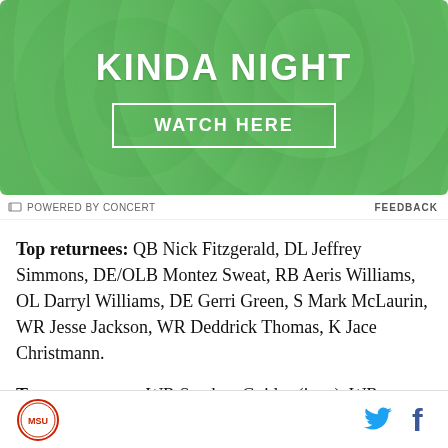[Figure (illustration): Green textured advertisement banner with text 'KINDA NIGHT' and a 'WATCH HERE' button]
POWERED BY CONCERT   FEEDBACK
Top returnees: QB Nick Fitzgerald, DL Jeffrey Simmons, DE/OLB Montez Sweat, RB Aeris Williams, OL Darryl Williams, DE Gerri Green, S Mark McLaurin, WR Jesse Jackson, WR Deddrick Thomas, K Jace Christmann.
Top newcomers: WR Stephen Guidry (juco), WR
[Logo icon] [Twitter icon] [Facebook icon]